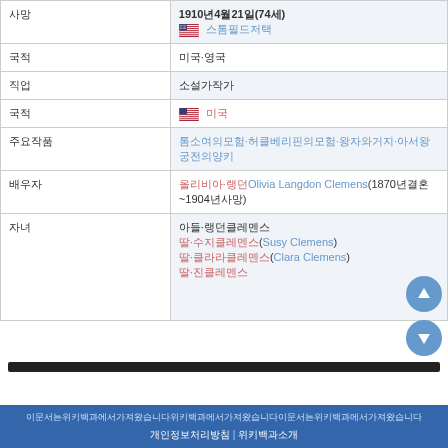| field | value |
| --- | --- |
| 사망 | 1910년4월21일(74세)
🇺🇸 스톰필드저택 |
| 국적 | 미국·영국 |
| 직업 | 소설가작가 |
| 국적 | 🇺🇸 미국 |
| 주요작품 | 톰소여의모험·허클베리핀의모험·왕자와거지·아서왕궁전의양키 |
| 배우자 | 올리비아·랭던Olivia Langdon Clemens(1870년결혼~1904년사망) |
| 자녀 | 아들·랭던클레멘스
딸·수지클레멘스(Susy Clemens)
딸·클라라클레멘스(Clara Clemens)
딸·진클레멘스 |
이 문서는 위키백과에서 가져왔습니다 | 개인정보 처리방침 | 위키백과 소개